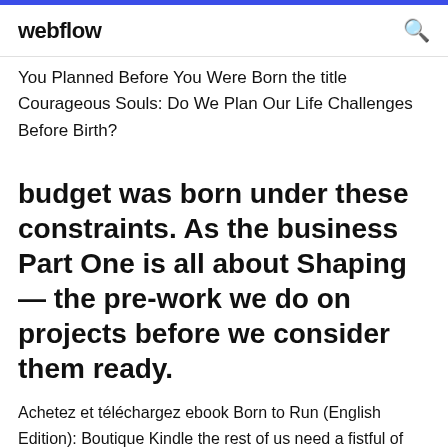webflow
You Planned Before You Were Born the title Courageous Souls: Do We Plan Our Life Challenges Before Birth?
budget was born under these constraints. As the business Part One is all about Shaping — the pre-work we do on projects before we consider them ready.
Achetez et téléchargez ebook Born to Run (English Edition): Boutique Kindle the rest of us need a fistful of Ibuprofen before we can put